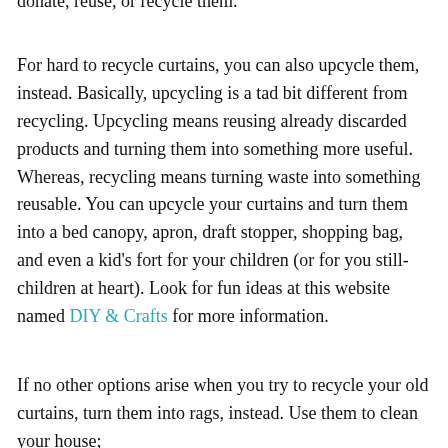donate, reuse, or recycle them.
For hard to recycle curtains, you can also upcycle them, instead. Basically, upcycling is a tad bit different from recycling. Upcycling means reusing already discarded products and turning them into something more useful. Whereas, recycling means turning waste into something reusable. You can upcycle your curtains and turn them into a bed canopy, apron, draft stopper, shopping bag, and even a kid's fort for your children (or for you still-children at heart). Look for fun ideas at this website named DIY & Crafts for more information.
If no other options arise when you try to recycle your old curtains, turn them into rags, instead. Use them to clean your house;